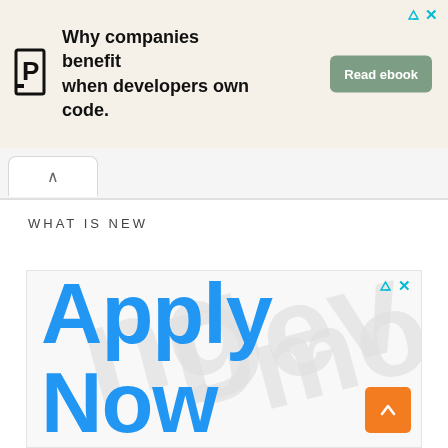[Figure (screenshot): Top advertisement banner: Pluralsight logo with text 'Why companies benefit when developers own code.' and green 'Read ebook' button]
[Figure (screenshot): Browser tab/navigation bar with a left-pointing caret/chevron tab]
WHAT IS NEW
[Figure (screenshot): Bottom advertisement area with watermark text 'Devmo' in background and large blue 'Apply Now' text in foreground, with orange scroll-to-top button in lower right]